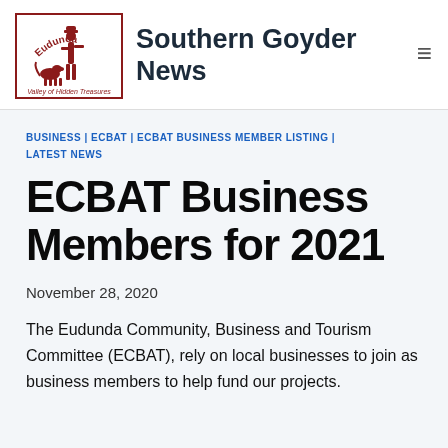Southern Goyder News
BUSINESS | ECBAT | ECBAT BUSINESS MEMBER LISTING | LATEST NEWS
ECBAT Business Members for 2021
November 28, 2020
The Eudunda Community, Business and Tourism Committee (ECBAT), rely on local businesses to join as business members to help fund our projects.